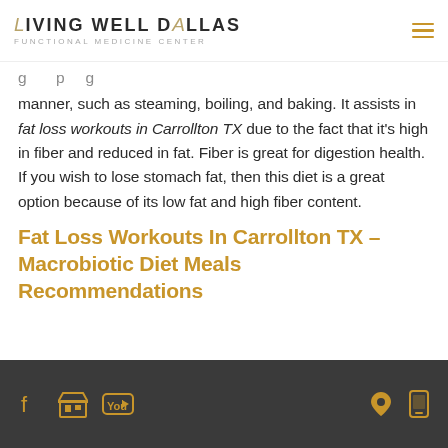LIVING WELL DALLAS Functional Medicine Center
manner, such as steaming, boiling, and baking. It assists in fat loss workouts in Carrollton TX due to the fact that it’s high in fiber and reduced in fat. Fiber is great for digestion health. If you wish to lose stomach fat, then this diet is a great option because of its low fat and high fiber content.
Fat Loss Workouts In Carrollton TX – Macrobiotic Diet Meals Recommendations
Social media icons and contact icons